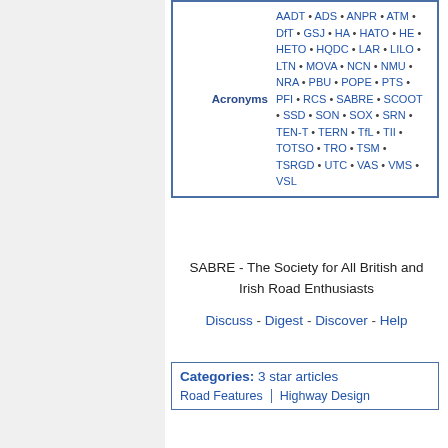| Acronyms | AADT • ADS • ANPR • ATM • DfT • GSJ • HA • HATO • HE • HETO • HQDC • LAR • LILO • LTN • MOVA • NCN • NMU • NRA • PBU • POPE • PTS • PFI • RCS • SABRE • SCOOT • SSD • SON • SOX • SRN • TEN-T • TERN • TfL • TII • TOTSO • TRO • TSM • TSRGD • UTC • VAS • VMS • VSL |
SABRE - The Society for All British and Irish Road Enthusiasts
Discuss - Digest - Discover - Help
Categories:  3 star articles
Road Features | Highway Design